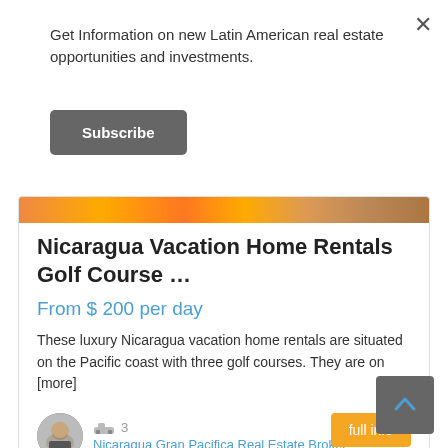Get Information on new Latin American real estate opportunities and investments.
Subscribe
Nicaragua Vacation Home Rentals Golf Course …
From $ 200 per day
These luxury Nicaragua vacation home rentals are situated on the Pacific coast with three golf courses. They are on [more]
3
Nicaragua Gran Pacifica Real Estate Broker
full info